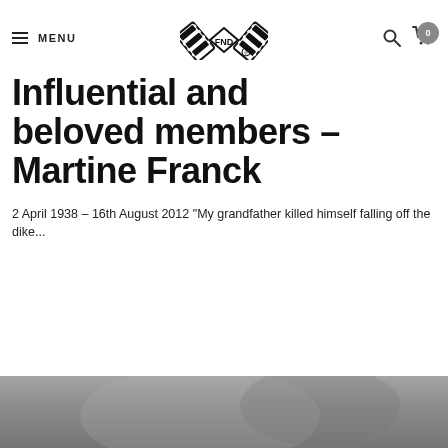MENU | FND Logo | search | cart 0
Influential and beloved members – Martine Franck
2 April 1938 – 16th August 2012 "My grandfather killed himself falling off the dike...
[Figure (photo): Black and white photograph partially visible at the bottom of the page]